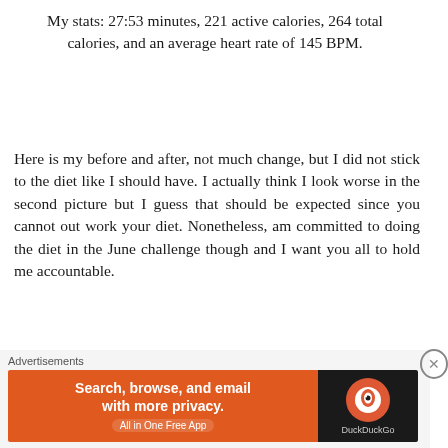My stats: 27:53 minutes, 221 active calories, 264 total calories, and an average heart rate of 145 BPM.
Here is my before and after, not much change, but I did not stick to the diet like I should have. I actually think I look worse in the second picture but I guess that should be expected since you cannot out work your diet. Nonetheless, am committed to doing the diet in the June challenge though and I want you all to hold me accountable.
Advertisements
[Figure (other): DuckDuckGo advertisement banner: 'Search, browse, and email with more privacy. All in One Free App' with DuckDuckGo logo on dark background]